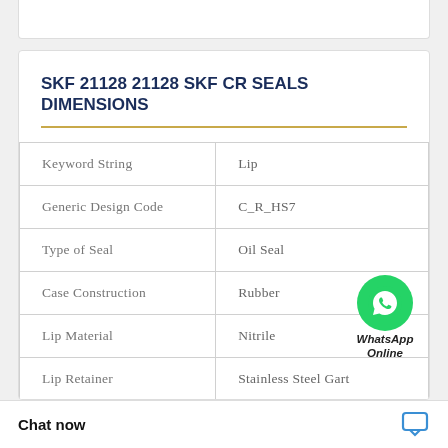SKF 21128 21128 SKF CR SEALS DIMENSIONS
|  |  |
| --- | --- |
| Keyword String | Lip |
| Generic Design Code | C_R_HS7 |
| Type of Seal | Oil Seal |
| Case Construction | Rubber |
| Lip Material | Nitrile |
| Lip Retainer | Stainless Steel Gart |
|  | il Seals |
|  | 7375 | ... / 040.3 |
Chat now